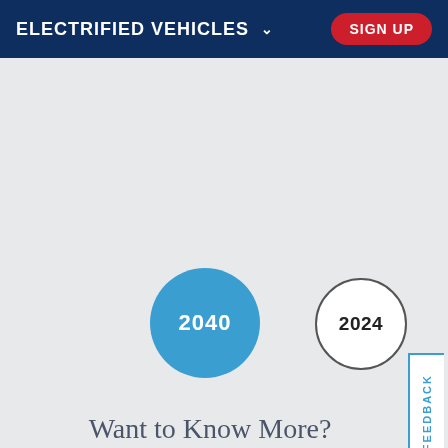ELECTRIFIED VEHICLES
[Figure (infographic): Two circles representing years 2040 (large filled blue circle) and 2024 (smaller outlined circle), used as navigation/timeline elements on Honda's electrified vehicles page.]
Want to Know More?
Get the latest news about Honda electrified vehicles delivered straight to your inbox.